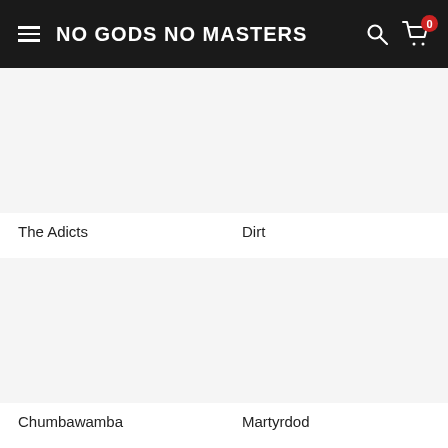NO GODS NO MASTERS
The Adicts
Dirt
Chumbawamba
Martyrdod